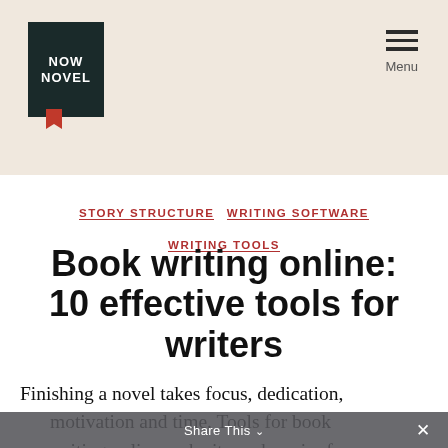NOW NOVEL  Menu
STORY STRUCTURE  WRITING SOFTWARE  WRITING TOOLS
Book writing online: 10 effective tools for writers
Finishing a novel takes focus, dedication, motivation and time. Tools for book writing online make it much easier for
Share This